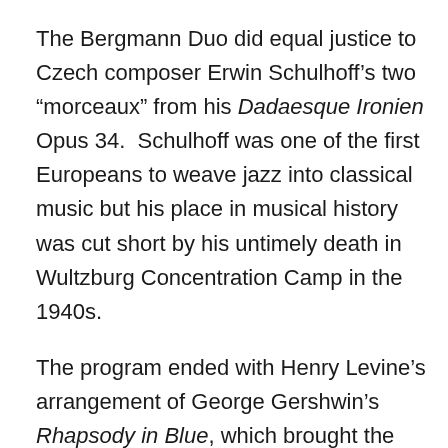The Bergmann Duo did equal justice to Czech composer Erwin Schulhoff's two “morceaux” from his Dadaesque Ironien Opus 34.  Schulhoff was one of the first Europeans to weave jazz into classical music but his place in musical history was cut short by his untimely death in Wultzburg Concentration Camp in the 1940s.
The program ended with Henry Levine’s arrangement of George Gershwin’s Rhapsody in Blue, which brought the house down… and up, in an inevitable standing ovation.
The Bergmanns’ virtuosity shone again in their encore, when they tangoed on both keyboard and piano stool in perfect time, tune and harmony. That tango, once described as “a vertical expression of a horizontal intent,” left no more to be said except that this month’s curtain raiser, Max Bruch’s Concerto in D Minor, was beautifully